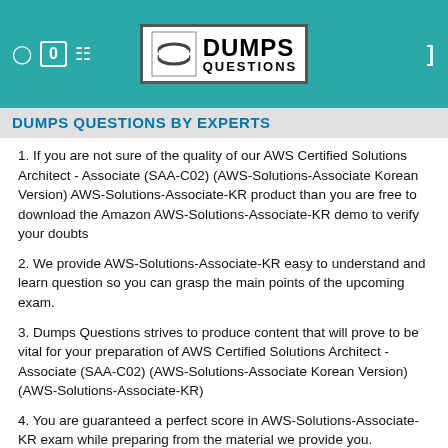DUMPS QUESTIONS
DUMPS QUESTIONS BY EXPERTS
1. If you are not sure of the quality of our AWS Certified Solutions Architect - Associate (SAA-C02) (AWS-Solutions-Associate Korean Version) AWS-Solutions-Associate-KR product than you are free to download the Amazon AWS-Solutions-Associate-KR demo to verify your doubts
2. We provide AWS-Solutions-Associate-KR easy to understand and learn question so you can grasp the main points of the upcoming exam.
3. Dumps Questions strives to produce content that will prove to be vital for your preparation of AWS Certified Solutions Architect - Associate (SAA-C02) (AWS-Solutions-Associate Korean Version) (AWS-Solutions-Associate-KR)
4. You are guaranteed a perfect score in AWS-Solutions-Associate-KR exam while preparing from the material we provide you.